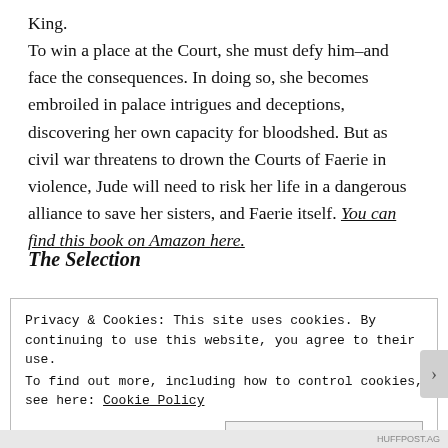King. To win a place at the Court, she must defy him–and face the consequences. In doing so, she becomes embroiled in palace intrigues and deceptions, discovering her own capacity for bloodshed. But as civil war threatens to drown the Courts of Faerie in violence, Jude will need to risk her life in a dangerous alliance to save her sisters, and Faerie itself. You can find this book on Amazon here.
The Selection
Privacy & Cookies: This site uses cookies. By continuing to use this website, you agree to their use. To find out more, including how to control cookies, see here: Cookie Policy